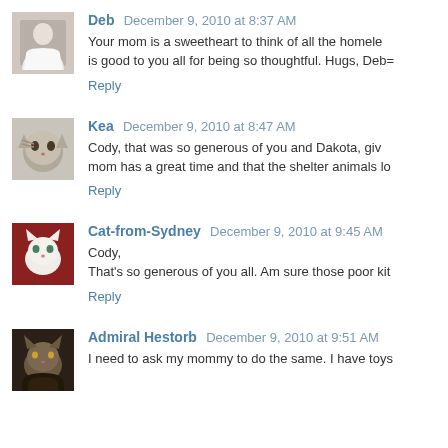[Figure (photo): Avatar photo of Deb - person in white top]
Deb December 9, 2010 at 8:37 AM
Your mom is a sweetheart to think of all the homele... is good to you all for being so thoughtful. Hugs, Deb=
Reply
[Figure (photo): Avatar photo of Kea - cat face]
Kea December 9, 2010 at 8:47 AM
Cody, that was so generous of you and Dakota, giv... mom has a great time and that the shelter animals lo...
Reply
[Figure (photo): Avatar photo of Cat-from-Sydney - white cat]
Cat-from-Sydney December 9, 2010 at 9:45 AM
Cody,
That's so generous of you all. Am sure those poor kit...
Reply
[Figure (photo): Avatar photo of Admiral Hestorb - cat with dark background]
Admiral Hestorb December 9, 2010 at 9:51 AM
I need to ask my mommy to do the same. I have toys...